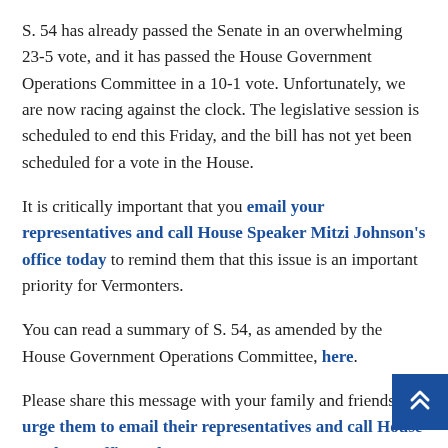S. 54 has already passed the Senate in an overwhelming 23-5 vote, and it has passed the House Government Operations Committee in a 10-1 vote. Unfortunately, we are now racing against the clock. The legislative session is scheduled to end this Friday, and the bill has not yet been scheduled for a vote in the House.
It is critically important that you email your representatives and call House Speaker Mitzi Johnson's office today to remind them that this issue is an important priority for Vermonters.
You can read a summary of S. 54, as amended by the House Government Operations Committee, here.
Please share this message with your family and friends and urge them to email their representatives and call House speaker's office today!